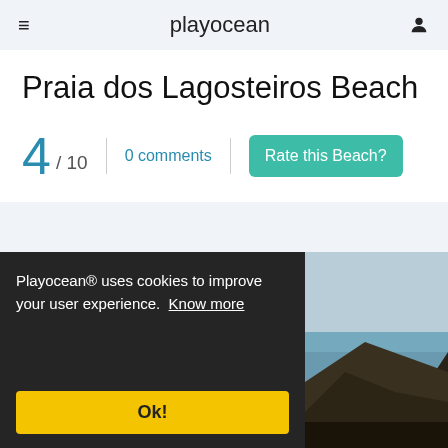playocean
Praia dos Lagosteiros Beach
4 / 10   |   0 comments   |   Rate this Beach?
Playocean® uses cookies to improve your user experience. Know more
Ok!
[Figure (photo): Rocky coastal cliff with ocean and sky in background]